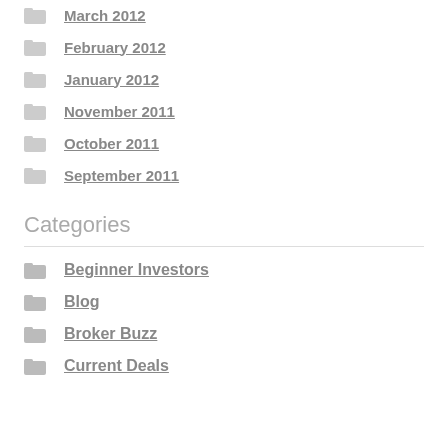March 2012
February 2012
January 2012
November 2011
October 2011
September 2011
Categories
Beginner Investors
Blog
Broker Buzz
Current Deals